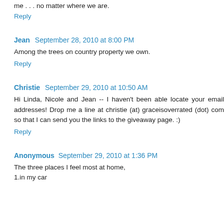me . . . no matter where we are.
Reply
Jean  September 28, 2010 at 8:00 PM
Among the trees on country property we own.
Reply
Christie  September 29, 2010 at 10:50 AM
Hi Linda, Nicole and Jean -- I haven't been able locate your email addresses! Drop me a line at christie (at) graceisoverrated (dot) com so that I can send you the links to the giveaway page. :)
Reply
Anonymous  September 29, 2010 at 1:36 PM
The three places I feel most at home,
1.in my car